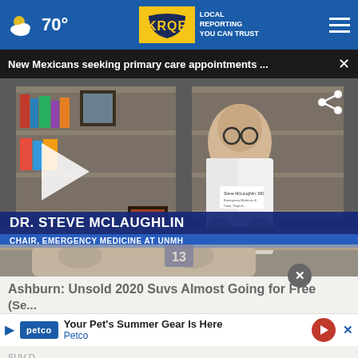70° KRQE LOCAL REPORTING YOU CAN TRUST
New Mexicans seeking primary care appointments ... ×
[Figure (screenshot): Video thumbnail of Dr. Steve McLaughlin, Chair of Emergency Medicine at UNMH, in a medical office setting with bookshelves in the background. A play button overlay is visible on the left side. Lower-third graphic shows: DR. STEVE MCLAUGHLIN / CHAIR, EMERGENCY MEDICINE AT UNMH. A share icon appears in the top right of the video.]
Ashburn: Unsold 2020 Suvs Almost Going for Free (Se...
Your Pet's Summer Gear Is Here Petco
SUV D...